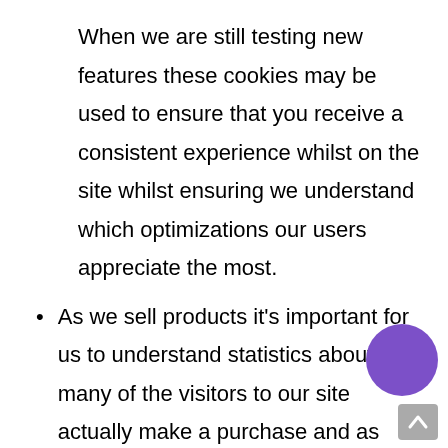When we are still testing new features these cookies may be used to ensure that you receive a consistent experience whilst on the site whilst ensuring we understand which optimizations our users appreciate the most.
As we sell products it's important for us to understand statistics about how many of the visitors to our site actually make a purchase and as such this is the kind of data that these cookies will track. This is important you as it means that we can